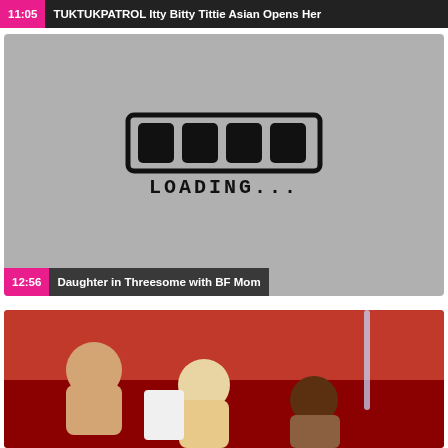[Figure (screenshot): Video thumbnail strip. Top bar shows timestamp 11:05 and title 'TUKTUKPATROL Itty Bitty Tittie Asian Opens Her'. Below is a video thumbnail with grey loading screen showing a hand-drawn loading bar graphic and text 'LOADING...' with overlay bar showing timestamp 12:56 and title 'Daughter in Threesome with BF Mom'. Below that is a partial video thumbnail showing people on a red sofa/couch scene.]